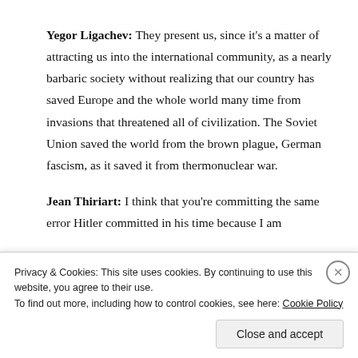Yegor Ligachev: They present us, since it's a matter of attracting us into the international community, as a nearly barbaric society without realizing that our country has saved Europe and the whole world many time from invasions that threatened all of civilization. The Soviet Union saved the world from the brown plague, German fascism, as it saved it from thermonuclear war.
Jean Thiriart: I think that you're committing the same error Hitler committed in his time because I am
Privacy & Cookies: This site uses cookies. By continuing to use this website, you agree to their use.
To find out more, including how to control cookies, see here: Cookie Policy
Close and accept